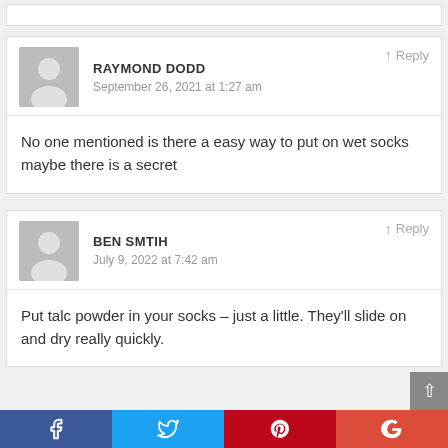RAYMOND DODD
September 26, 2021 at 1:27 am
No one mentioned is there a easy way to put on wet socks maybe there is a secret
BEN SMTIH
July 9, 2022 at 7:42 am
Put talc powder in your socks – just a little. They'll slide on and dry really quickly.